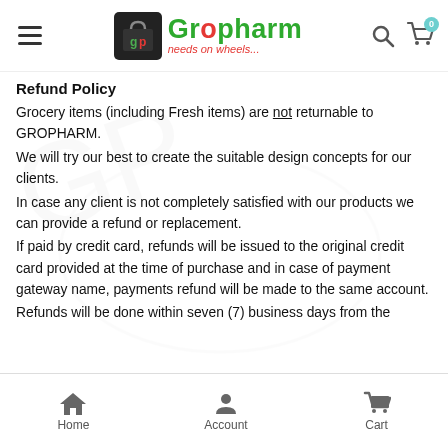Gropharm - needs on wheels...
Refund Policy
Grocery items (including Fresh items) are not returnable to GROPHARM.
We will try our best to create the suitable design concepts for our clients.
In case any client is not completely satisfied with our products we can provide a refund or replacement.
If paid by credit card, refunds will be issued to the original credit card provided at the time of purchase and in case of payment gateway name, payments refund will be made to the same account.
Refunds will be done within seven (7) business days from the date of cancellation of Order (before delivery) or receipt of
Home   Account   Cart